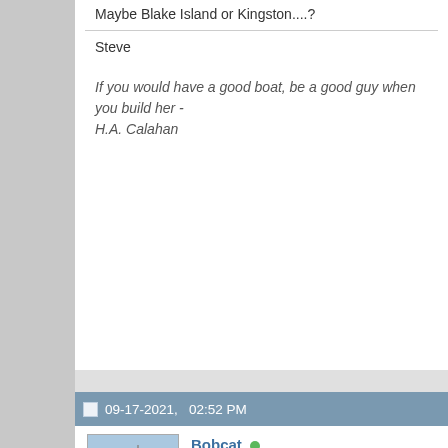Maybe Blake Island or Kingston....?
Steve
If you would have a good boat, be a good guy when you build her - H.A. Calahan
09-17-2021,   02:52 PM
Bobcat  Formerly a Smallboat Guy
Re: Marianita's overnight "cruise"
I went out last year for a couple of days in early October. A fine time were few other boats around, and I had a very nice time.

October, if you watch the weather, can be a wonderful time for boa
What's not on a boat costs nothing, weighs nothing, and can't break